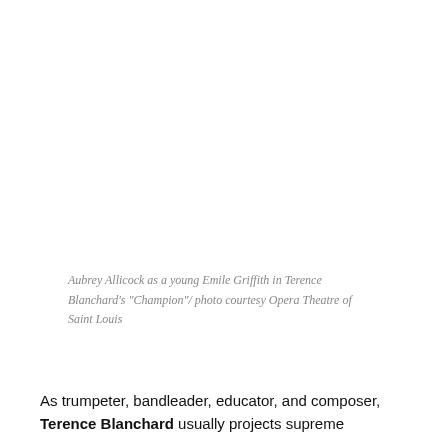Aubrey Allicock as a young Emile Griffith in Terence Blanchard's "Champion"/ photo courtesy Opera Theatre of Saint Louis
As trumpeter, bandleader, educator, and composer, Terence Blanchard usually projects supreme